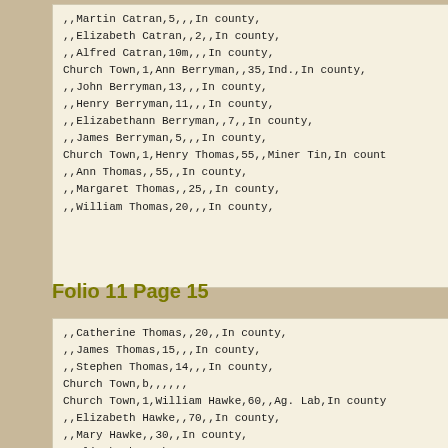| ,,Martin Catran,5,,,In county, |
| ,,Elizabeth Catran,,2,,In county, |
| ,,Alfred Catran,10m,,,In county, |
| Church Town,1,Ann Berryman,,35,Ind.,In county, |
| ,,John Berryman,13,,,In county, |
| ,,Henry Berryman,11,,,In county, |
| ,,Elizabethann Berryman,,7,,In county, |
| ,,James Berryman,5,,,In county, |
| Church Town,1,Henry Thomas,55,,Miner Tin,In county, |
| ,,Ann Thomas,,55,,In county, |
| ,,Margaret Thomas,,25,,In county, |
| ,,William Thomas,20,,,In county, |
Folio 11 Page 15
| ,,Catherine Thomas,,20,,In county, |
| ,,James Thomas,15,,,In county, |
| ,,Stephen Thomas,14,,,In county, |
| Church Town,b,,,,,, |
| Church Town,1,William Hawke,60,,Ag. Lab,In county, |
| ,,Elizabeth Hawke,,70,,In county, |
| ,,Mary Hawke,,30,,In county, |
| ,,Elizabeth Hawke,,25,,In county, |
| ,,John Hawke,25,,,In county, |
| ,,Richard Hawke,8,,,In county, |